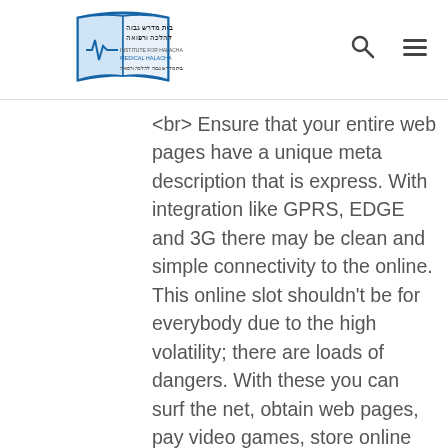Medical Halacha logo with search and menu icons
<br> Ensure that your entire web pages have a unique meta description that is express. With integration like GPRS, EDGE and 3G there may be clean and simple connectivity to the online. This online slot shouldn't be for everybody due to the high volatility; there are loads of dangers. With these you can surf the net, obtain web pages, pay video games, store online and watch movies at high pace. An individual can really feel coyness for few basic items. Within few days, you'll be able to feel the variation in you. As we're giving open problem, you can able to grasp the quality of this